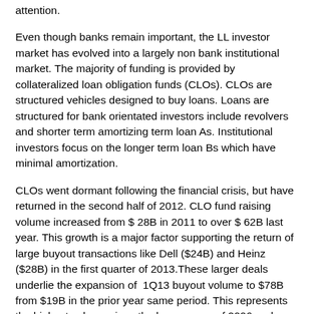attention.
Even though banks remain important, the LL investor market has evolved into a largely non bank institutional market. The majority of funding is provided by collateralized loan obligation funds (CLOs). CLOs are structured vehicles designed to buy loans. Loans are structured for bank orientated investors include revolvers and shorter term amortizing term loan As. Institutional investors focus on the longer term loan Bs which have minimal amortization.
CLOs went dormant following the financial crisis, but have returned in the second half of 2012. CLO fund raising volume increased from $ 28B in 2011 to over $ 62B last year. This growth is a major factor supporting the return of large buyout transactions like Dell ($24B) and Heinz ($28B) in the first quarter of 2013.These larger deals underlie the expansion of 1Q13 buyout volume to $78B from $19B in the prior year same period. This represents the highest volume since the boom years of 2006 and 2007.
Regulators are rightly concerned that LL's high nominal yields may encourage excessive risk on their balance...